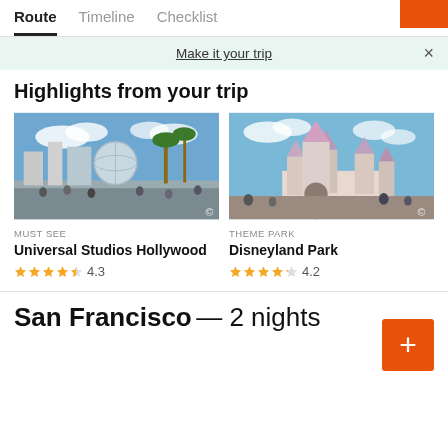Route | Timeline | Checklist
Make it your trip
Highlights from your trip
[Figure (photo): Universal Studios Hollywood theme park area with roller coasters, palm trees, and blue sky]
MUST SEE
Universal Studios Hollywood
★★★★½ 4.3
[Figure (photo): Disneyland Park Sleeping Beauty Castle with blue sky and crowd]
THEME PARK
Disneyland Park
★★★★½ 4.2
San Francisco — 2 nights